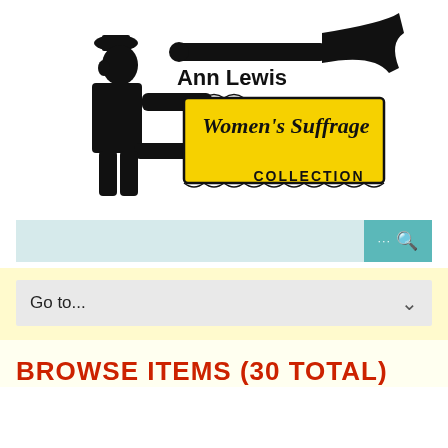[Figure (logo): Ann Lewis Women's Suffrage Collection logo: a figure blowing a horn/trumpet holding a yellow banner that reads 'Women's Suffrage' with 'Ann Lewis' above and 'COLLECTION' below]
[Figure (screenshot): Search bar with light teal input area and teal search button with ellipsis and magnifying glass icon]
[Figure (screenshot): Navigation dropdown labeled 'Go to...' with a chevron/arrow on a yellow background]
BROWSE ITEMS (30 TOTAL)